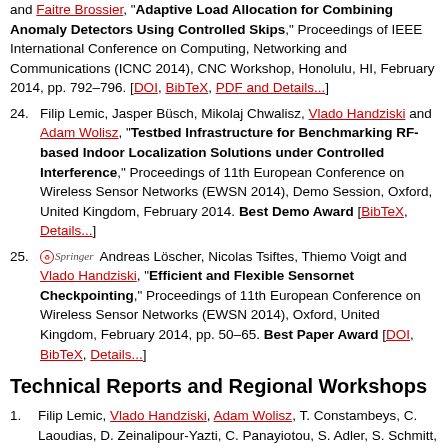and Faitre Brossier, "Adaptive Load Allocation for Combining Anomaly Detectors Using Controlled Skips," Proceedings of IEEE International Conference on Computing, Networking and Communications (ICNC 2014), CNC Workshop, Honolulu, HI, February 2014, pp. 792–796. [DOI, BibTeX, PDF and Details...]
24. Filip Lemic, Jasper Büsch, Mikolaj Chwalisz, Vlado Handziski and Adam Wolisz, "Testbed Infrastructure for Benchmarking RF-based Indoor Localization Solutions under Controlled Interference," Proceedings of 11th European Conference on Wireless Sensor Networks (EWSN 2014), Demo Session, Oxford, United Kingdom, February 2014. Best Demo Award [BibTeX, Details...]
25. Andreas Löscher, Nicolas Tsiftes, Thiemo Voigt and Vlado Handziski, "Efficient and Flexible Sensornet Checkpointing," Proceedings of 11th European Conference on Wireless Sensor Networks (EWSN 2014), Oxford, United Kingdom, February 2014, pp. 50–65. Best Paper Award [DOI, BibTeX, Details...]
Technical Reports and Regional Workshops
1. Filip Lemic, Vlado Handziski, Adam Wolisz, T. Constambeys, C. Laoudias, D. Zeinalipour-Yazti, C. Panayiotou, S. Adler, S. Schmitt, H. Will, T. Hillebrandt, M. Kyso, Y. Yang and Y. Zhao, "Systematic Objective...